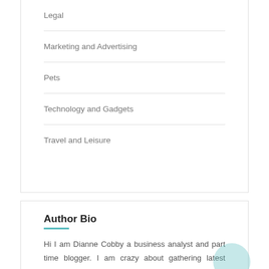Legal
Marketing and Advertising
Pets
Technology and Gadgets
Travel and Leisure
Author Bio
Hi I am Dianne Cobby a business analyst and part time blogger. I am crazy about gathering latest information around the world. I have started this